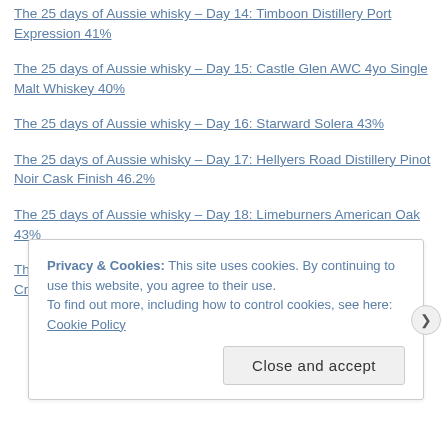The 25 days of Aussie whisky – Day 14: Timboon Distillery Port Expression 41%
The 25 days of Aussie whisky – Day 15: Castle Glen AWC 4yo Single Malt Whiskey 40%
The 25 days of Aussie whisky – Day 16: Starward Solera 43%
The 25 days of Aussie whisky – Day 17: Hellyers Road Distillery Pinot Noir Cask Finish 46.2%
The 25 days of Aussie whisky – Day 18: Limeburners American Oak 43%
The 25 days of Aussie whisky – Day 19: Fleurieu Distillery Atlantic Crossing 52%
Privacy & Cookies: This site uses cookies. By continuing to use this website, you agree to their use.
To find out more, including how to control cookies, see here: Cookie Policy